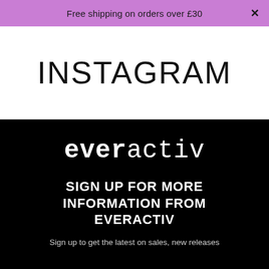Free shipping on orders over £30
INSTAGRAM
[Figure (logo): everactiv brand logo in white monospace font on black background]
SIGN UP FOR MORE INFORMATION FROM EVERACTIV
Sign up to get the latest on sales, new releases